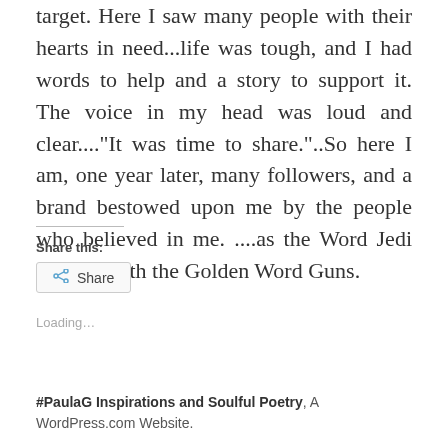target. Here I saw many people with their hearts in need...life was tough, and I had words to help and a story to support it. The voice in my head was loud and clear...."It was time to share."..So here I am, one year later, many followers, and a brand bestowed upon me by the people who believed in me. ....as the Word Jedi Poetess with the Golden Word Guns.
Share this:
Share
Loading...
#PaulaG Inspirations and Soulful Poetry, A WordPress.com Website.